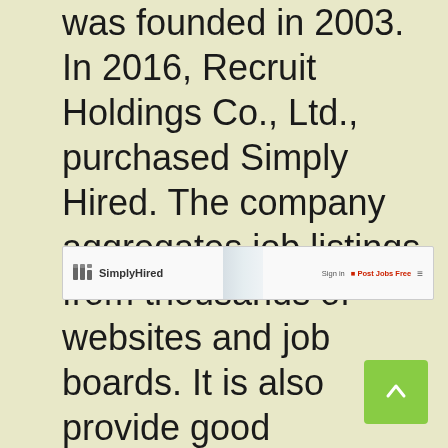was founded in 2003. In 2016, Recruit Holdings Co., Ltd., purchased Simply Hired. The company aggregates job listings from thousands of websites and job boards. It is also provide good freelancing facility.
[Figure (screenshot): Screenshot of the SimplyHired website navigation bar showing the SimplyHired logo on the left and 'Sign in', 'Post Jobs Free' and a menu icon on the right.]